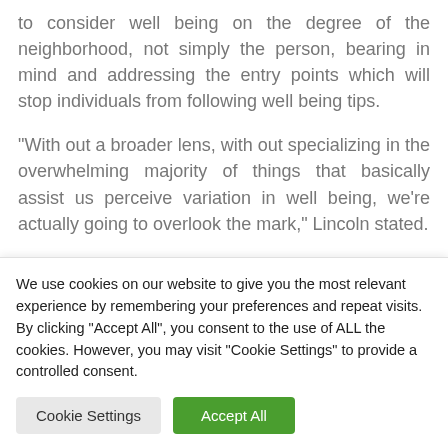to consider well being on the degree of the neighborhood, not simply the person, bearing in mind and addressing the entry points which will stop individuals from following well being tips.
“With out a broader lens, with out specializing in the overwhelming majority of things that basically assist us perceive variation in well being, we’re actually going to overlook the mark,” Lincoln stated.
Along with addressing the causes of hesitancy…
We use cookies on our website to give you the most relevant experience by remembering your preferences and repeat visits. By clicking “Accept All”, you consent to the use of ALL the cookies. However, you may visit "Cookie Settings" to provide a controlled consent.